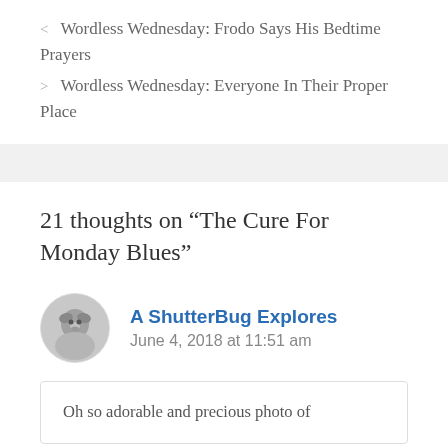< Wordless Wednesday: Frodo Says His Bedtime Prayers
> Wordless Wednesday: Everyone In Their Proper Place
21 thoughts on “The Cure For Monday Blues”
[Figure (photo): Circular avatar photo of a small dog, black and white]
A ShutterBug Explores
June 4, 2018 at 11:51 am
Oh so adorable and precious photo of